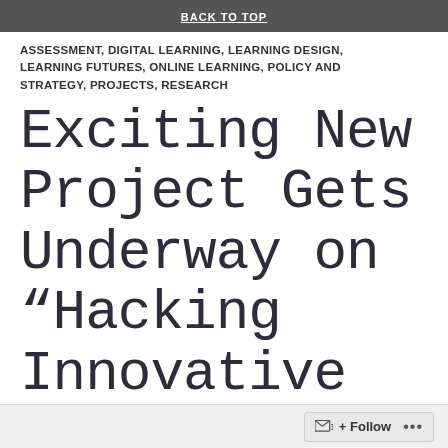BACK TO TOP
ASSESSMENT, DIGITAL LEARNING, LEARNING DESIGN, LEARNING FUTURES, ONLINE LEARNING, POLICY AND STRATEGY, PROJECTS, RESEARCH
Exciting New Project Gets Underway on “Hacking Innovative Pedagogies: Digital